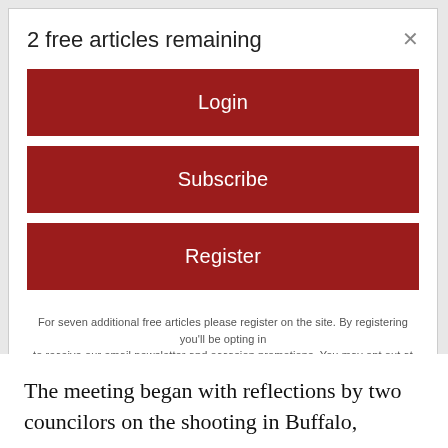2 free articles remaining
Login
Subscribe
Register
For seven additional free articles please register on the site. By registering you'll be opting in to receive our email newsletter and occasion promotions. You may opt out at any time.
The meeting began with reflections by two councilors on the shooting in Buffalo,